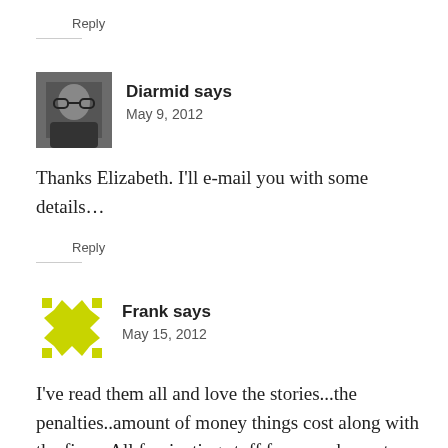Reply
Diarmid says
May 9, 2012
Thanks Elizabeth. I'll e-mail you with some details…
Reply
Frank says
May 15, 2012
I've read them all and love the stories...the penalties..amount of money things cost along with the fines. All fascinating stuff from my home town. Thank you for realizing what you have Diarmid,